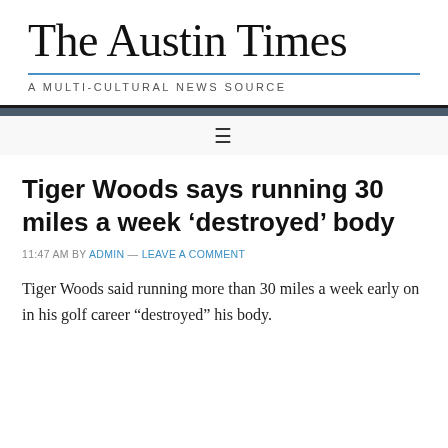The Austin Times
A MULTI-CULTURAL NEWS SOURCE
Tiger Woods says running 30 miles a week ‘destroyed’ body
11:47 AM BY ADMIN — LEAVE A COMMENT
Tiger Woods said running more than 30 miles a week early on in his golf career “destroyed” his body.